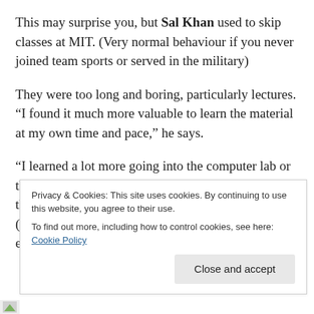This may surprise you, but Sal Khan used to skip classes at MIT. (Very normal behaviour if you never joined team sports or served in the military)
They were too long and boring, particularly lectures. “I found it much more valuable to learn the material at my own time and pace,” he says.
“I learned a lot more going into the computer lab or the science lab or the circuits lab, fiddling with things and playing and getting my hands dirty.” (That’s called training your experimental mind in education methods)
Privacy & Cookies: This site uses cookies. By continuing to use this website, you agree to their use.
To find out more, including how to control cookies, see here: Cookie Policy